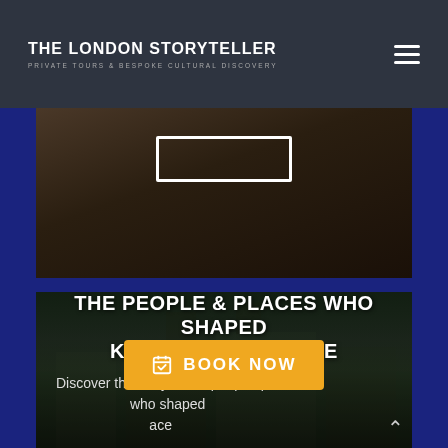THE LONDON STORYTELLER — PRIVATE TOURS & BESPOKE CULTURAL DISCOVERY
[Figure (photo): Dark atmospheric photo with a white outline rectangle overlay, partially visible figure in background]
[Figure (photo): Dark atmospheric photo of Kensington Palace exterior at dusk with overlaid title text]
THE PEOPLE & PLACES WHO SHAPED KENSINGTON PALACE
Discover the story of the people, places who shaped [Kensingt]on Palace